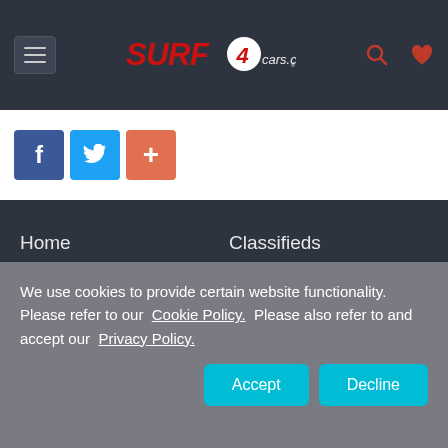SURF4cars.co.za — site header with hamburger menu, logo, search and heart icons
[Figure (screenshot): Social sharing buttons: Facebook (blue), Twitter (light blue), Share/Plus (orange-red)]
Home
Used Cars
New Cars
New Car Specials
New Car Specs
Classifieds
News
Contact Us
Desktop Version
We use cookies to provide certain website functionality. Please refer to our Cookie Policy. Please also refer to and accept our Privacy Policy.
Accept | Decline